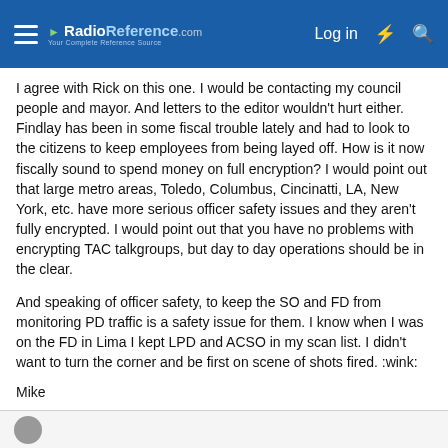RadioReference.com — Log in
I agree with Rick on this one. I would be contacting my council people and mayor. And letters to the editor wouldn't hurt either. Findlay has been in some fiscal trouble lately and had to look to the citizens to keep employees from being layed off. How is it now fiscally sound to spend money on full encryption? I would point out that large metro areas, Toledo, Columbus, Cincinatti, LA, New York, etc. have more serious officer safety issues and they aren't fully encrypted. I would point out that you have no problems with encrypting TAC talkgroups, but day to day operations should be in the clear.
And speaking of officer safety, to keep the SO and FD from monitoring PD traffic is a safety issue for them. I know when I was on the FD in Lima I kept LPD and ACSO in my scan list. I didn't want to turn the corner and be first on scene of shots fired. :wink:
Mike